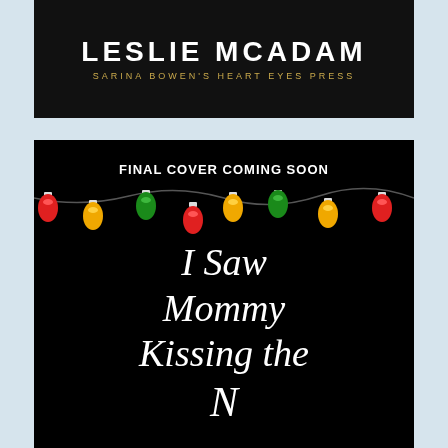[Figure (illustration): Top black banner with author name LESLIE MCADAM in large white bold uppercase letters and subtitle SARINA BOWEN'S HEART EYES PRESS in gold small caps]
[Figure (illustration): Book cover placeholder on black background with text FINAL COVER COMING SOON, a row of colorful Christmas lights (red, yellow, green, orange), and large italic white script title text reading I Saw Mommy Kissing the... (cut off)]